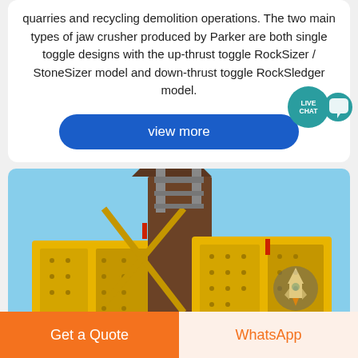quarries and recycling demolition operations. The two main types of jaw crusher produced by Parker are both single toggle designs with the up-thrust toggle RockSizer / StoneSizer model and down-thrust toggle RockSledger model.
[Figure (other): Live Chat badge: teal circle with LIVE CHAT text and speech bubble icon]
[Figure (photo): Large yellow jaw crusher machinery photographed outdoors against a blue sky]
[Figure (other): Rocket icon watermark on the photograph]